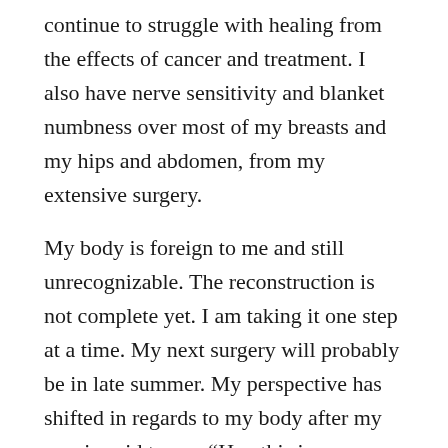continue to struggle with healing from the effects of cancer and treatment. I also have nerve sensitivity and blanket numbness over most of my breasts and my hips and abdomen, from my extensive surgery.
My body is foreign to me and still unrecognizable. The reconstruction is not complete yet. I am taking it one step at a time. My next surgery will probably be in late summer. My perspective has shifted in regards to my body after my cousin said to me, “Hey this is your second body, most of us only get one and you were gifted another one!”
I know I’m blessed. I feel fortunate for so many reasons and that makes the acceptance of living with this “newly gifted body,” and these hopefully temporary side effects